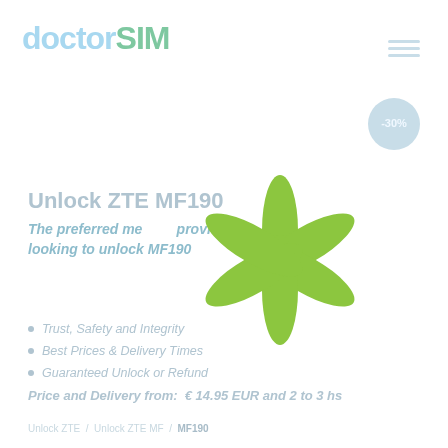[Figure (logo): doctorSIM logo in light blue and green colors]
[Figure (other): Three horizontal hamburger menu lines in light blue]
[Figure (other): Circular discount badge showing -30% in light blue]
Unlock ZTE MF190
The preferred method provider looking to unlock MF190
[Figure (illustration): Large green asterisk/snowflake decorative symbol]
Trust, Safety and Integrity
Best Prices & Delivery Times
Guaranteed Unlock or Refund
Price and Delivery from:  € 14.95 EUR and 2 to 3 hs
MF190